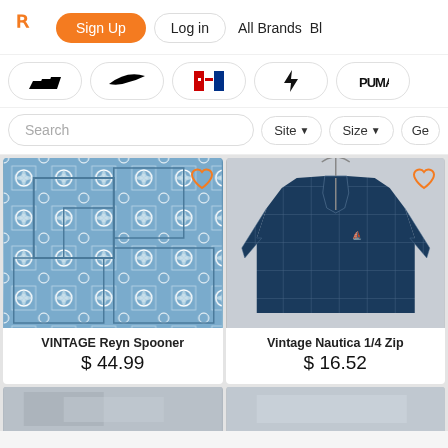Rerun logo, Sign Up, Log in, All Brands, Bl
[Figure (screenshot): Navigation bar with orange R logo, Sign Up button, Log in pill button, All Brands text, Bl text]
[Figure (screenshot): Brand filter row with Adidas, Nike, Tommy Hilfiger, lightning bolt, Puma logos as pills]
[Figure (screenshot): Search bar row with Site, Size, Ge filter dropdown pills]
[Figure (photo): Product card: VINTAGE Reyn Spooner floral Hawaiian shirt, price $44.99]
[Figure (photo): Product card: Vintage Nautica 1/4 Zip navy checkered sweater, price $16.52]
VINTAGE Reyn Spooner
$ 44.99
Vintage Nautica 1/4 Zip
$ 16.52